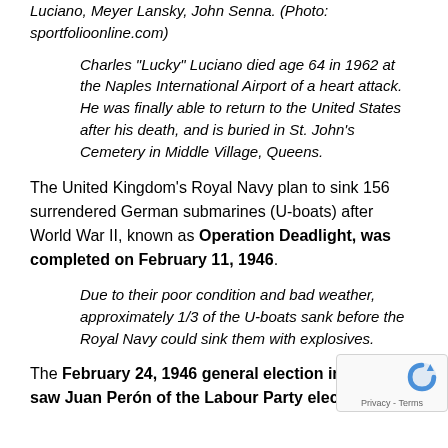Luciano, Meyer Lansky, John Senna. (Photo: sportfolioonline.com)
Charles “Lucky” Luciano died age 64 in 1962 at the Naples International Airport of a heart attack. He was finally able to return to the United States after his death, and is buried in St. John’s Cemetery in Middle Village, Queens.
The United Kingdom’s Royal Navy plan to sink 156 surrendered German submarines (U-boats) after World War II, known as Operation Deadlight, was completed on February 11, 1946.
Due to their poor condition and bad weather, approximately 1/3 of the U-boats sank before the Royal Navy could sink them with explosives.
The February 24, 1946 general election in Arg... saw Juan Perón of the Labour Party elected as the